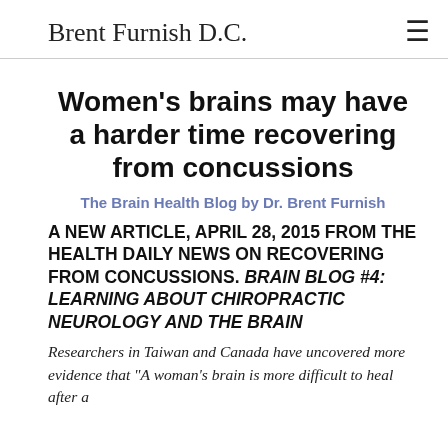Brent Furnish D.C.
Women's brains may have a harder time recovering from concussions
The Brain Health Blog by Dr. Brent Furnish
A NEW ARTICLE, APRIL 28, 2015 FROM THE HEALTH DAILY NEWS ON RECOVERING FROM CONCUSSIONS. BRAIN BLOG #4: LEARNING ABOUT CHIROPRACTIC NEUROLOGY AND THE BRAIN
Researchers in Taiwan and Canada have uncovered more evidence that "A woman's brain is more difficult to heal after a